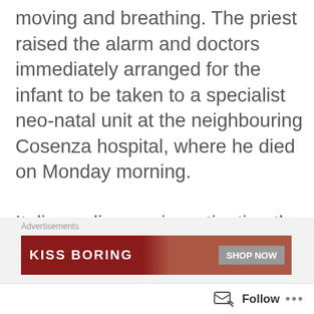moving and breathing. The priest raised the alarm and doctors immediately arranged for the infant to be taken to a specialist neo-natal unit at the neighbouring Cosenza hospital, where he died on Monday morning.
Italian police are investigating the case for “homicide” because infanticide is illegal in Italy.
Source: The Telegraph.co.uk
[Figure (screenshot): Advertisement banner showing 'KISS BORING' text in white on dark red background with 'SHOP NOW' button, with a woman's face partially visible. Labeled 'Advertisements' above.]
[Figure (screenshot): Follow bar at bottom with follow icon, 'Follow' text, and '...' menu button. Close (X) button in top right corner of ad area.]